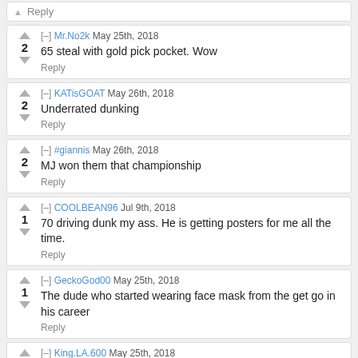Reply
Mr.No2k May 25th, 2018 | 2 | 65 steal with gold pick pocket. Wow | Reply
KATisGOAT May 26th, 2018 | 2 | Underrated dunking | Reply
#giannis May 26th, 2018 | 2 | MJ won them that championship | Reply
COOLBEAN96 Jul 9th, 2018 | 1 | 70 driving dunk my ass. He is getting posters for me all the time. | Reply
GeckoGod00 May 25th, 2018 | 1 | The dude who started wearing face mask from the get go in his career | Reply
King.LA.600 May 25th, 2018 | 1 | rip hamiton his card last year was amazing i hope this one is